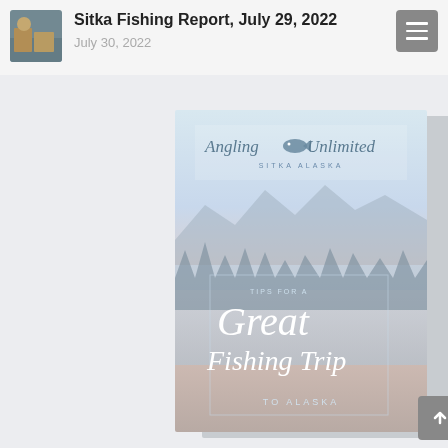[Figure (photo): Small thumbnail photo of people fishing, used as article avatar/icon]
Sitka Fishing Report, July 29, 2022
July 30, 2022
[Figure (photo): Angling Unlimited Sitka Alaska brochure cover showing a scenic lake with mountains and trees. Text reads: TIPS FOR A Great Fishing Trip TO ALASKA]